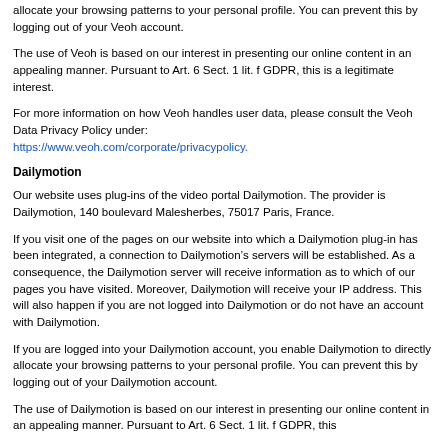allocate your browsing patterns to your personal profile. You can prevent this by logging out of your Veoh account.
The use of Veoh is based on our interest in presenting our online content in an appealing manner. Pursuant to Art. 6 Sect. 1 lit. f GDPR, this is a legitimate interest.
For more information on how Veoh handles user data, please consult the Veoh Data Privacy Policy under: https://www.veoh.com/corporate/privacypolicy.
Dailymotion
Our website uses plug-ins of the video portal Dailymotion. The provider is Dailymotion, 140 boulevard Malesherbes, 75017 Paris, France.
If you visit one of the pages on our website into which a Dailymotion plug-in has been integrated, a connection to Dailymotion’s servers will be established. As a consequence, the Dailymotion server will receive information as to which of our pages you have visited. Moreover, Dailymotion will receive your IP address. This will also happen if you are not logged into Dailymotion or do not have an account with Dailymotion.
If you are logged into your Dailymotion account, you enable Dailymotion to directly allocate your browsing patterns to your personal profile. You can prevent this by logging out of your Dailymotion account.
The use of Dailymotion is based on our interest in presenting our online content in an appealing manner. Pursuant to Art. 6 Sect. 1 lit. f GDPR, this